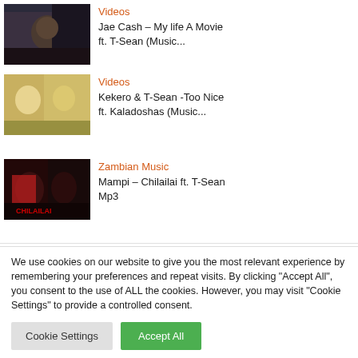Videos
Jae Cash – My life A Movie ft. T-Sean (Music...
Videos
Kekero & T-Sean -Too Nice ft. Kaladoshas (Music...
Zambian Music
Mampi – Chilailai ft. T-Sean Mp3
We use cookies on our website to give you the most relevant experience by remembering your preferences and repeat visits. By clicking "Accept All", you consent to the use of ALL the cookies. However, you may visit "Cookie Settings" to provide a controlled consent.
Cookie Settings    Accept All